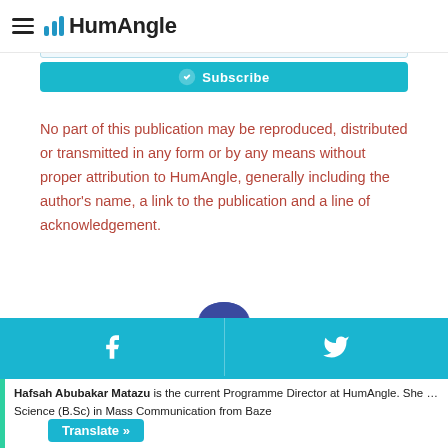HumAngle
Subscribe to our Telegram channel to get the stories on your phone once they arrive!
[Figure (screenshot): Email subscribe input field and teal Subscribe button]
No part of this publication may be reproduced, distributed or transmitted in any form or by any means without proper attribution to HumAngle, generally including the author's name, a link to the publication and a line of acknowledgement.
[Figure (illustration): Illustrated portrait of Hafsah Abubakar Matazu wearing a blue hijab]
[Figure (infographic): Social share bar with Facebook and Twitter icons on teal background]
Hafsah Abubakar Matazu is the current Programme Director at HumAngle. She ... Science (B.Sc) in Mass Communication from Baze